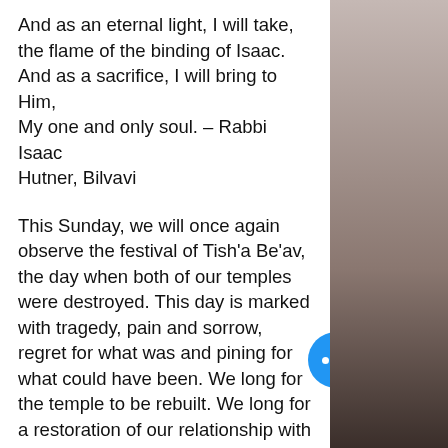And as an eternal light, I will take, the flame of the binding of Isaac. And as a sacrifice, I will bring to Him, My one and only soul. – Rabbi Isaac Hutner, Bilvavi
This Sunday, we will once again observe the festival of Tish'a Be'av, the day when both of our temples were destroyed. This day is marked with tragedy, pain and sorrow, regret for what was and pining for what could have been. We long for the temple to be rebuilt. We long for a restoration of our relationship with G-d.
It is against this milieu that Rabbi Hutner wrote the above poem. Wh lack the physical temple and the intimacy it brings in our relationship
[Figure (photo): Partial photo of a person visible on the right side of the page, partially obscured]